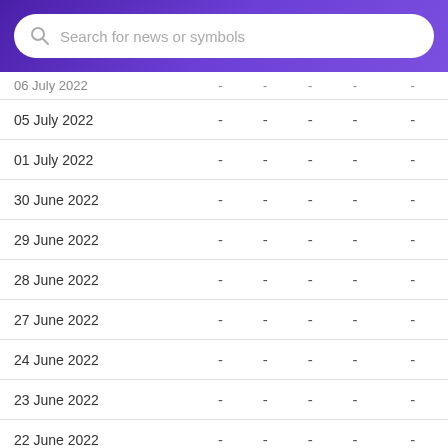Search for news or symbols
| Date |  |  |  |  |  |
| --- | --- | --- | --- | --- | --- |
| 06 July 2022 | - | - | - | - | - |
| 05 July 2022 | - | - | - | - | - |
| 01 July 2022 | - | - | - | - | - |
| 30 June 2022 | - | - | - | - | - |
| 29 June 2022 | - | - | - | - | - |
| 28 June 2022 | - | - | - | - | - |
| 27 June 2022 | - | - | - | - | - |
| 24 June 2022 | - | - | - | - | - |
| 23 June 2022 | - | - | - | - | - |
| 22 June 2022 | - | - | - | - | - |
| 21 June 2022 | - | - | - | - | - |